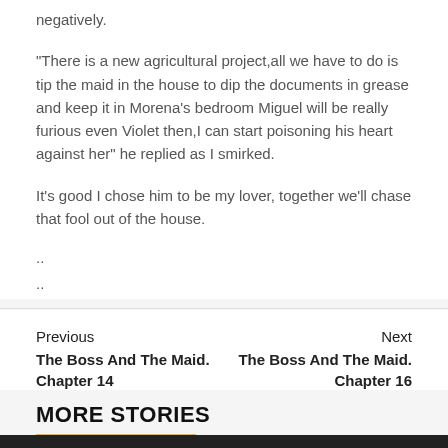negatively.
“There is a new agricultural project,all we have to do is tip the maid in the house to dip the documents in grease and keep it in Morena’s bedroom Miguel will be really furious even Violet then,I can start poisoning his heart against her” he replied as I smirked.
It’s good I chose him to be my lover, together we’ll chase that fool out of the house.
..
..
Previous
The Boss And The Maid. Chapter 14
Next
The Boss And The Maid. Chapter 16
MORE STORIES